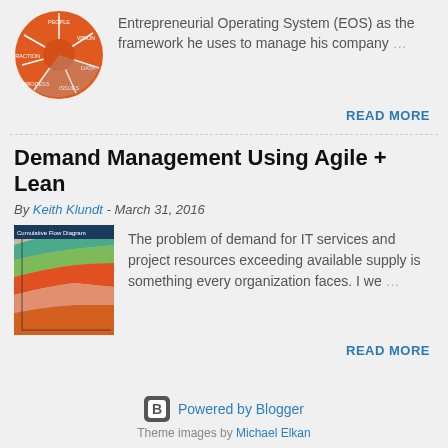[Figure (illustration): Orange pie/wheel diagram showing EOS (Entrepreneurial Operating System) framework components]
Entrepreneurial Operating System (EOS) as the framework he uses to manage his company …
READ MORE
Demand Management Using Agile + Lean
By Keith Klundt - March 31, 2016
[Figure (illustration): Cumulative Flow Diagram image showing stacked colored area chart]
The problem of demand for IT services and project resources exceeding available supply is something every organization faces. I we …
READ MORE
Powered by Blogger
Theme images by Michael Elkan